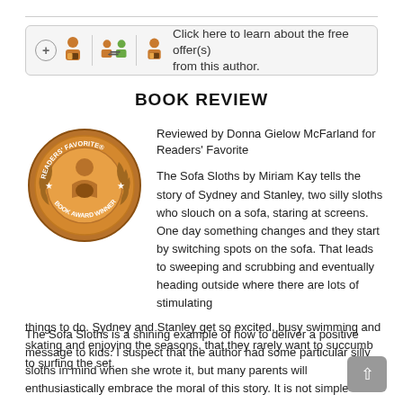[Figure (infographic): Offer banner with icons for follow author, compare, and read features with text: Click here to learn about the free offer(s) from this author.]
BOOK REVIEW
[Figure (illustration): Readers' Favorite Book Award Winner bronze/copper medallion seal with laurel wreath and figure holding a book]
Reviewed by Donna Gielow McFarland for Readers' Favorite
The Sofa Sloths by Miriam Kay tells the story of Sydney and Stanley, two silly sloths who slouch on a sofa, staring at screens. One day something changes and they start by switching spots on the sofa. That leads to sweeping and scrubbing and eventually heading outside where there are lots of stimulating things to do. Sydney and Stanley get so excited, busy swimming and skating and enjoying the seasons, that they rarely want to succumb to surfing the set.
The Sofa Sloths is a shining example of how to deliver a positive message to kids. I suspect that the author had some particular silly sloths in mind when she wrote it, but many parents will enthusiastically embrace the moral of this story. It is not simple to teach in a picture book without sounding preachy, but The Silly Sloths takes on the task with ease. The illustrations are bright and colorful and so